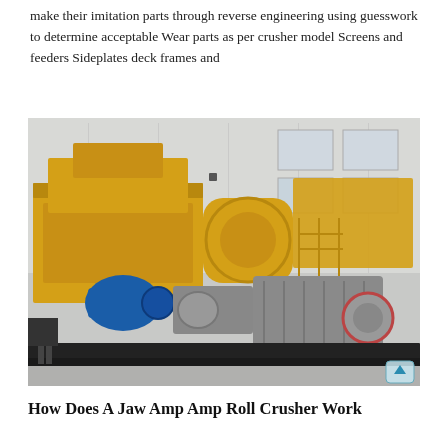make their imitation parts through reverse engineering using guesswork to determine acceptable Wear parts as per crusher model Screens and feeders Sideplates deck frames and
[Figure (photo): Industrial jaw and roll crusher machine parked outside a warehouse/factory building. The heavy equipment is predominantly yellow with grey components including motors and drive mechanisms. Blue electric motors are visible. The machine sits on a steel frame platform. A small scroll-to-top icon is visible in the bottom-right corner of the image.]
How Does A Jaw Amp Amp Roll Crusher Work